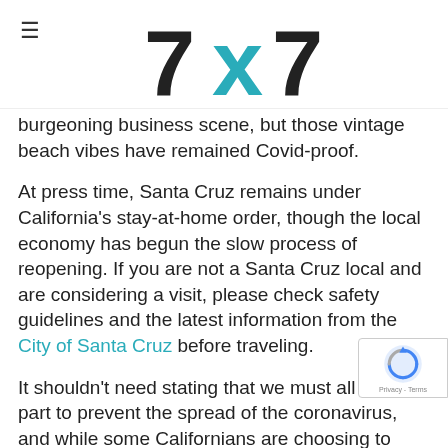7x7 logo with hamburger menu
burgeoning business scene, but those vintage beach vibes have remained Covid-proof.
At press time, Santa Cruz remains under California's stay-at-home order, though the local economy has begun the slow process of reopening. If you are not a Santa Cruz local and are considering a visit, please check safety guidelines and the latest information from the City of Santa Cruz before traveling.
It shouldn't need stating that we must all do our part to prevent the spread of the coronavirus, and while some Californians are choosing to travel, many continue to shelter at home. If you do hit the road, limit pit stops by packing your own snacks and keep your activities outside; keep your distanc a mask; wash your hands; and be respectful of local